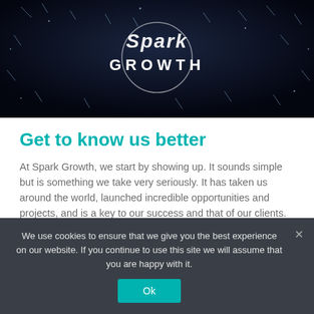[Figure (photo): Dark space-like background with sparkles/light particles and a white logo reading 'Spark GROWTH' in the center]
Get to know us better
At Spark Growth, we start by showing up. It sounds simple but is something we take very seriously. It has taken us around the world, launched incredible opportunities and projects, and is a key to our success and that of our clients.
We use cookies to ensure that we give you the best experience on our website. If you continue to use this site we will assume that you are happy with it.